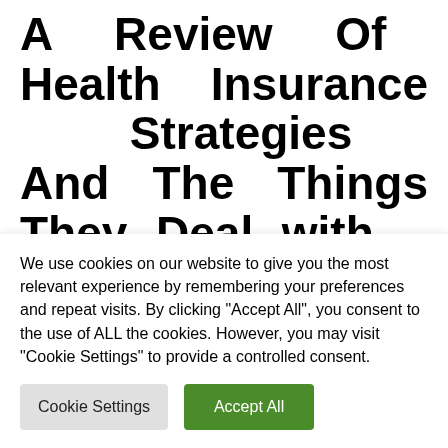A Review Of Health Insurance Strategies And The Things They Deal with – How To Get Insurance Card Online Blue Cross Blue Shield
Many employers offer overall health intends to their
We use cookies on our website to give you the most relevant experience by remembering your preferences and repeat visits. By clicking "Accept All", you consent to the use of ALL the cookies. However, you may visit "Cookie Settings" to provide a controlled consent.